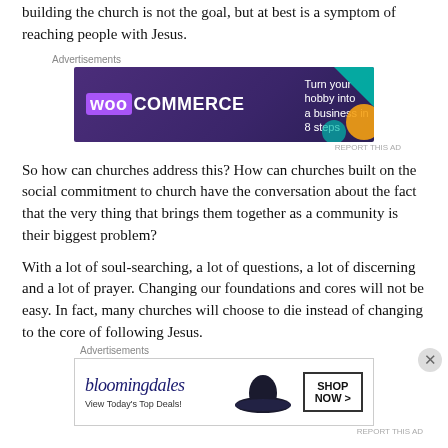building the church is not the goal, but at best is a symptom of reaching people with Jesus.
[Figure (other): WooCommerce advertisement banner: 'Turn your hobby into a business in 8 steps']
So how can churches address this? How can churches built on the social commitment to church have the conversation about the fact that the very thing that brings them together as a community is their biggest problem?
With a lot of soul-searching, a lot of questions, a lot of discerning and a lot of prayer. Changing our foundations and cores will not be easy. In fact, many churches will choose to die instead of changing to the core of following Jesus.
[Figure (other): Bloomingdale's advertisement banner: 'View Today's Top Deals!' with SHOP NOW >]